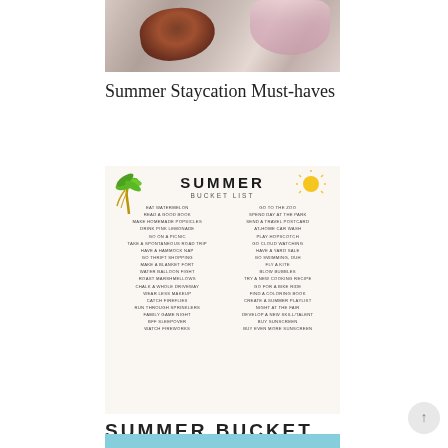[Figure (photo): Top-down photo of a person lying on the floor with hair spread out, wearing pink clothing, next to some items]
Summer Staycation Must-haves
[Figure (infographic): Summer Bucket List infographic with palm tree and sun icons, two-column list of summer activities including: Eat Watermelon, Read a Good Book, Make Homemade Popsicles, Drink Pink Lemonade, Go on a Picnic, Take a Spontaneous Road Trip, Have a Hammock Nap, Go Thrift Shopping, Make a Blanket Fort, Water Balloon Fight, Roast Marshmellows, Chalk a Whole Driveway, Wear Less Makeup, Catch Fireflies, Run Through Sprinklers, Family Game Night, BFF Sleepover, Watch Fireworks, Go to the Zoo, Spend Day at the Park, Send a Travel Postcard, At-Home Car Wash, Play Hopscotch, Go Cloud Watching, Have a Yard Sale, Go Swimming, Duh, Fly a Kite, Blow Bubbles, Try a New Cooking Recipe, Go for a Bike Ride, Find a Coloring Book, Create a Summer Playlist, Night at the Fair, Develop a New Skill/Talent, Buy Sunscreen, Buy Even More Sunscreen]
SUMMER BUCKET LIST
[Figure (photo): Light blue/teal colored image at the bottom of the page]